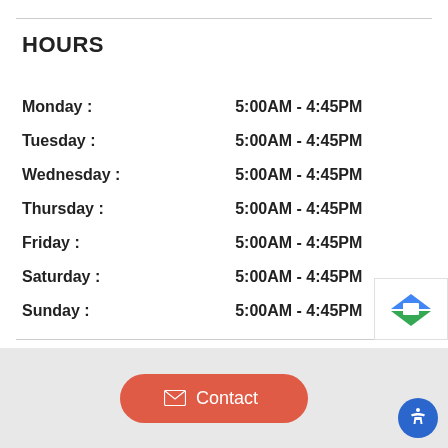HOURS
| Day | Hours |
| --- | --- |
| Monday : | 5:00AM - 4:45PM |
| Tuesday : | 5:00AM - 4:45PM |
| Wednesday : | 5:00AM - 4:45PM |
| Thursday : | 5:00AM - 4:45PM |
| Friday : | 5:00AM - 4:45PM |
| Saturday : | 5:00AM - 4:45PM |
| Sunday : | 5:00AM - 4:45PM |
Contact